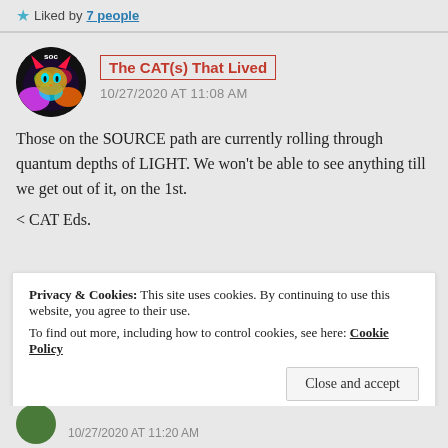★ Liked by 7 people
[Figure (photo): Circular avatar showing a colorful psychedelic cat image with rainbow colors, labeled 'soc' at the top]
The CAT(s) That Lived
10/27/2020 AT 11:08 AM
Those on the SOURCE path are currently rolling through quantum depths of LIGHT. We won't be able to see anything till we get out of it, on the 1st.
< CAT Eds.
Privacy & Cookies: This site uses cookies. By continuing to use this website, you agree to their use.
To find out more, including how to control cookies, see here: Cookie Policy
Close and accept
10/27/2020 AT 11:20 AM